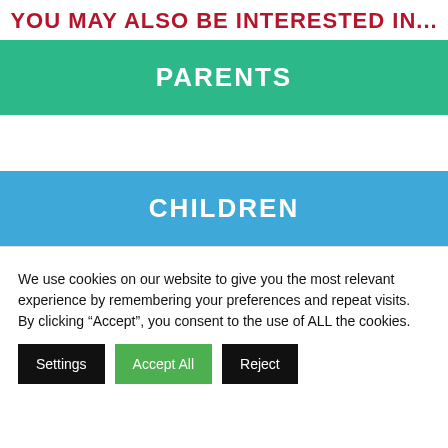YOU MAY ALSO BE INTERESTED IN...
PARENTS
CHILDREN
We use cookies on our website to give you the most relevant experience by remembering your preferences and repeat visits. By clicking “Accept”, you consent to the use of ALL the cookies.